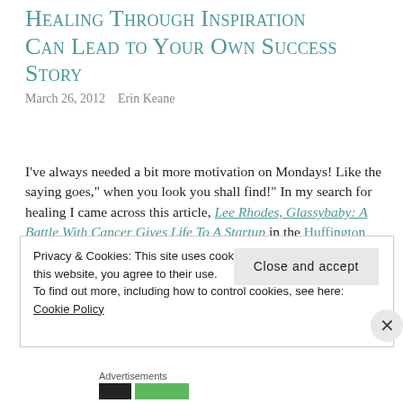Healing Through Inspiration Can Lead to Your Own Success Story
March 26, 2012   Erin Keane
I've always needed a bit more motivation on Mondays! Like the saying goes," when you look you shall find!" In my search for healing I came across this article, Lee Rhodes, Glassybaby: A Battle With Cancer Gives Life To A Startup in the Huffington Post. Ms. Rhodes shares how she had an inspiring moment of healing in her life, which lead to her creating art that inspires healing in
Privacy & Cookies: This site uses cookies. By continuing to use this website, you agree to their use.
To find out more, including how to control cookies, see here: Cookie Policy
Close and accept
Advertisements